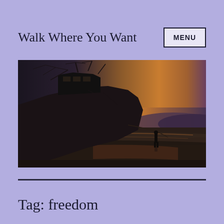Walk Where You Want
MENU
[Figure (photo): A dramatic dusk/sunset scene on a beach showing a large beached or wrecked fishing boat tilted at an angle on the left side, silhouetted against a warm orange-yellow horizon. A lone person stands in silhouette on the wet sand to the right of the vessel. Hills are visible in the distant background.]
Tag: freedom